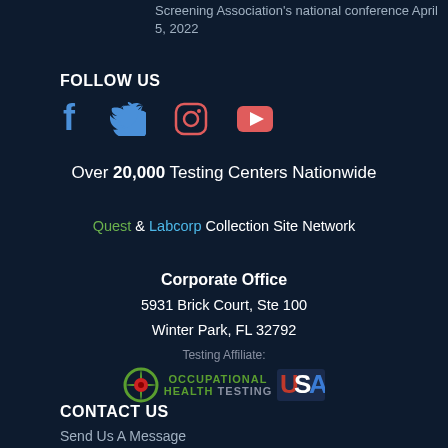Screening Association's national conference April 5, 2022
FOLLOW US
[Figure (illustration): Social media icons: Facebook, Twitter, Instagram, YouTube]
Over 20,000 Testing Centers Nationwide
Quest & Labcorp Collection Site Network
Corporate Office
5931 Brick Court, Ste 100
Winter Park, FL 32792
Testing Affiliate: Occupational Health Testing USA
CONTACT US
Send Us A Message